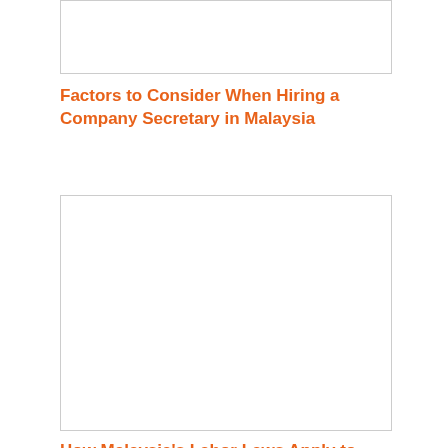[Figure (other): Partial image box at top of page, white/blank content]
Factors to Consider When Hiring a Company Secretary in Malaysia
[Figure (other): Large image box, white/blank content]
How Malaysia's Labor Laws Apply to Foreign Workers
[Figure (other): Partial image box at bottom of page, white/blank content]